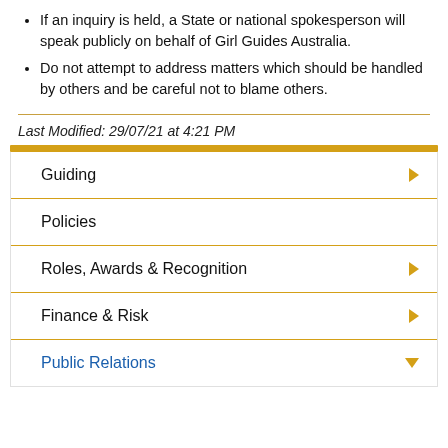If an inquiry is held, a State or national spokesperson will speak publicly on behalf of Girl Guides Australia.
Do not attempt to address matters which should be handled by others and be careful not to blame others.
Last Modified: 29/07/21 at 4:21 PM
Guiding
Policies
Roles, Awards & Recognition
Finance & Risk
Public Relations